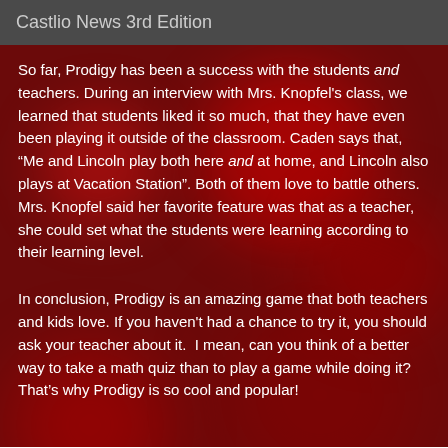Castlio News 3rd Edition
So far, Prodigy has been a success with the students and teachers. During an interview with Mrs. Knopfel's class, we learned that students liked it so much, that they have even been playing it outside of the classroom. Caden says that, “Me and Lincoln play both here and at home, and Lincoln also plays at Vacation Station”. Both of them love to battle others. Mrs. Knopfel said her favorite feature was that as a teacher, she could set what the students were learning according to their learning level.
In conclusion, Prodigy is an amazing game that both teachers and kids love. If you haven't had a chance to try it, you should ask your teacher about it.  I mean, can you think of a better way to take a math quiz than to play a game while doing it? That’s why Prodigy is so cool and popular!